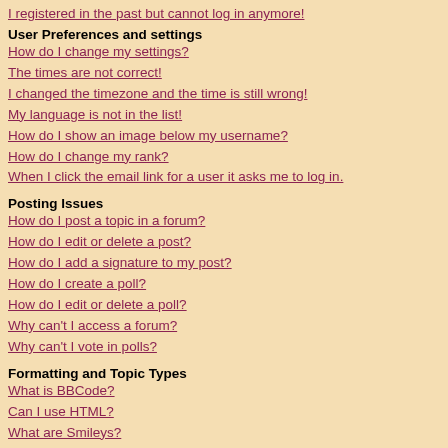I registered in the past but cannot log in anymore!
User Preferences and settings
How do I change my settings?
The times are not correct!
I changed the timezone and the time is still wrong!
My language is not in the list!
How do I show an image below my username?
How do I change my rank?
When I click the email link for a user it asks me to log in.
Posting Issues
How do I post a topic in a forum?
How do I edit or delete a post?
How do I add a signature to my post?
How do I create a poll?
How do I edit or delete a poll?
Why can't I access a forum?
Why can't I vote in polls?
Formatting and Topic Types
What is BBCode?
Can I use HTML?
What are Smileys?
Can I post Images?
What are Announcements?
What are Sticky topics?
What are Locked topics?
User Levels and Groups
What are Administrators?